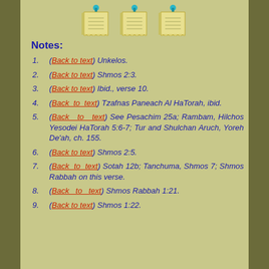[Figure (illustration): Three pinned sticky note scroll icons arranged horizontally]
Notes:
(Back to text) Unkelos.
(Back to text) Shmos 2:3.
(Back to text) Ibid., verse 10.
(Back to text) Tzafnas Paneach Al HaTorah, ibid.
(Back to text) See Pesachim 25a; Rambam, Hilchos Yesodei HaTorah 5:6-7; Tur and Shulchan Aruch, Yoreh De'ah, ch. 155.
(Back to text) Shmos 2:5.
(Back to text) Sotah 12b; Tanchuma, Shmos 7; Shmos Rabbah on this verse.
(Back to text) Shmos Rabbah 1:21.
(Back to text) Shmos 1:22.